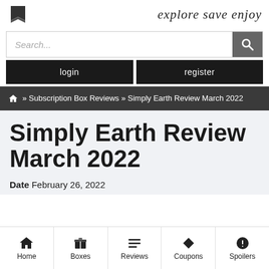explore save enjoy
Search...
login | register
🏠 » Subscription Box Reviews » Simply Earth Review March 2022
Simply Earth Review March 2022
Date February 26, 2022
Home | Boxes | Reviews | Coupons | Spoilers